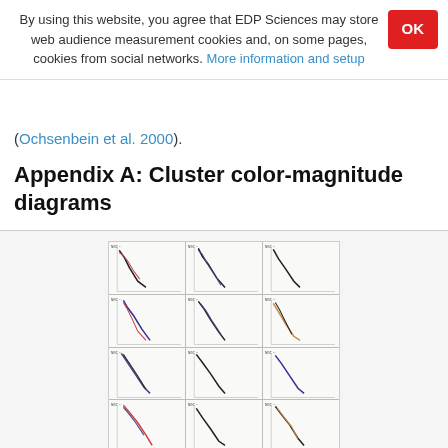By using this website, you agree that EDP Sciences may store web audience measurement cookies and, on some pages, cookies from social networks. More information and setup
(Ochsenbein et al. 2000).
Appendix A: Cluster color-magnitude diagrams
[Figure (other): Grid of 12 cluster color-magnitude diagrams arranged in 4 rows and 3 columns, each showing a CMD plot with axes and data points/curves for different stellar clusters.]